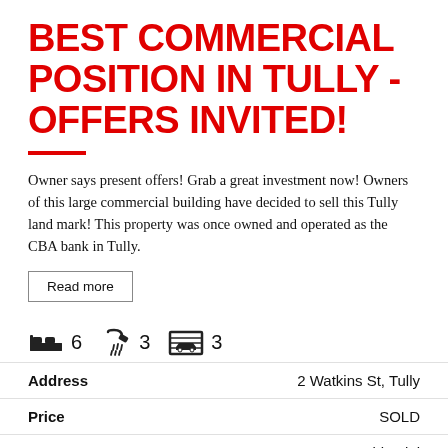BEST COMMERCIAL POSITION IN TULLY - OFFERS INVITED!
Owner says present offers! Grab a great investment now! Owners of this large commercial building have decided to sell this Tully land mark! This property was once owned and operated as the CBA bank in Tully.
Read more
[Figure (infographic): Property icons row: bed (6), shower (3), garage (3)]
| Field | Value |
| --- | --- |
| Address | 2 Watkins St, Tully |
| Price | SOLD |
| Property Type | Residential |
| Property ID | 375 |
| Category | Warehouse |